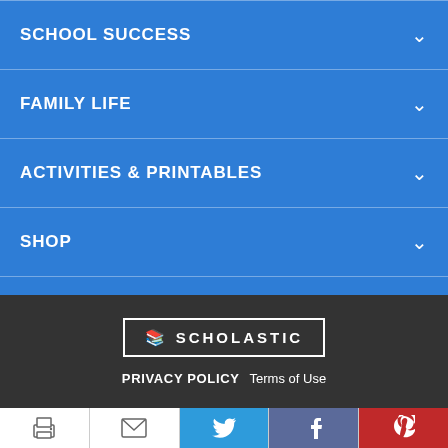SCHOOL SUCCESS
FAMILY LIFE
ACTIVITIES & PRINTABLES
SHOP
[Figure (logo): Scholastic logo with open book icon inside a rectangular border]
PRIVACY POLICY  Terms of Use
[Figure (infographic): Social sharing bar with print, email, Twitter, Facebook, and Pinterest buttons]